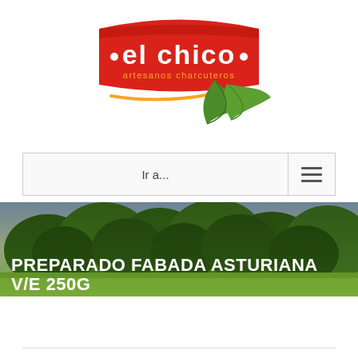[Figure (logo): El Chico artesanos charcuteros logo — red banner with white text 'el chico' and orange subtitle 'artesanos charcuteros', with a green oak leaf and yellow curved line beneath]
Ir a...
[Figure (photo): Outdoor landscape photo with green trees and grass, overlaid with white bold text 'PREPARADO FABADA ASTURIANA V/E 250G']
< Previous   Next >